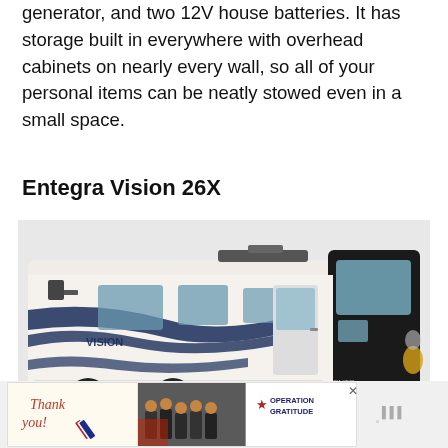generator, and two 12V house batteries. It has storage built in everywhere with overhead cabinets on nearly every wall, so all of your personal items can be neatly stowed even in a small space.
Entegra Vision 26X
[Figure (photo): Photo of a white Entegra Vision 26X Class A motorhome with dark blue/navy graphic accents, the word VISION on the side, large windshield, and door visible.]
[Figure (photo): Advertisement banner showing a 'Thank you!' handwritten note with a US flag pencil drawing, a photo of firefighters/first responders, and Operation Gratitude logo.]